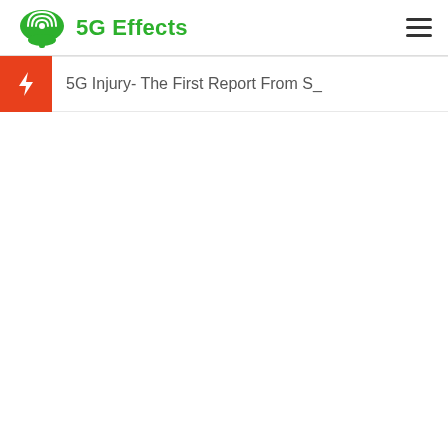5G Effects
5G Injury- The First Report From S_